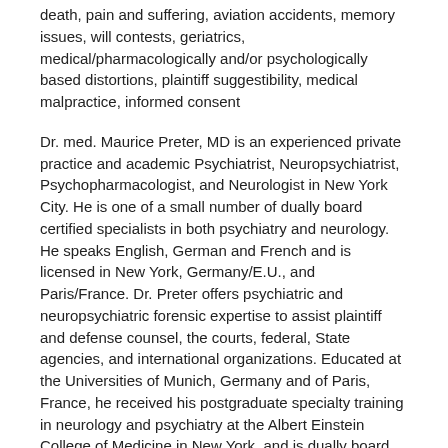death, pain and suffering, aviation accidents, memory issues, will contests, geriatrics, medical/pharmacologically and/or psychologically based distortions, plaintiff suggestibility, medical malpractice, informed consent
Dr. med. Maurice Preter, MD is an experienced private practice and academic Psychiatrist, Neuropsychiatrist, Psychopharmacologist, and Neurologist in New York City. He is one of a small number of dually board certified specialists in both psychiatry and neurology. He speaks English, German and French and is licensed in New York, Germany/E.U., and Paris/France. Dr. Preter offers psychiatric and neuropsychiatric forensic expertise to assist plaintiff and defense counsel, the courts, federal, State agencies, and international organizations. Educated at the Universities of Munich, Germany and of Paris, France, he received his postgraduate specialty training in neurology and psychiatry at the Albert Einstein College of Medicine in New York, and is dually board certified in both specialties. He has researched and written about a wide range of neuropsychiatric topics, including stroke, sleep disorders, epilepsy, panic disorder, psychological trauma, and the history of neurology in China. ...